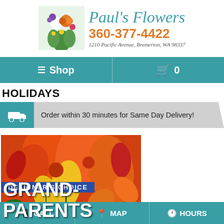[Figure (logo): Paul's Flowers logo with flower bouquet image, phone number 360-377-4422, and address 1210 Pacific Avenue, Bremerton, WA 98337]
[Figure (screenshot): Navigation bar with teal background showing hamburger menu icon and Shop text on left, shopping cart icon and 0 on right]
HOLIDAYS
[Figure (infographic): Delivery truck icon in teal box followed by gray banner: Order within 30 minutes for Same Day Delivery!]
[Figure (photo): Flower arrangement product image with orange lilies and yellow daisies. Text overlay: DESIGNER'S CHOICE and GRAND- (partial text)]
[Figure (screenshot): Footer bar with three buttons: CALL, MAP, HOURS on teal background]